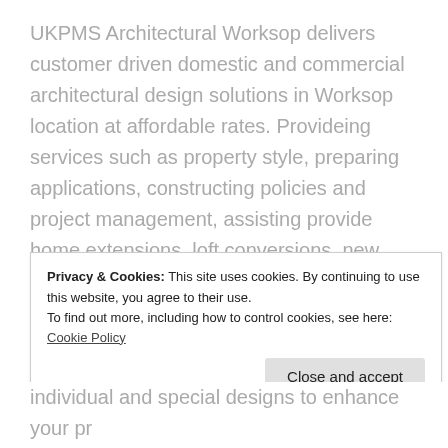UKPMS Architectural Worksop delivers customer driven domestic and commercial architectural design solutions in Worksop location at affordable rates. Provideing services such as property style, preparing applications, constructing policies and project management, assisting provide home extensions, loft conversions, new building, garages, houses, commercial and educations building development. A team of specialist local designers, professionals, planners, engineers and job managers offer the very best advice and service around.
Privacy & Cookies: This site uses cookies. By continuing to use this website, you agree to their use. To find out more, including how to control cookies, see here: Cookie Policy
individual and special designs to enhance your pr